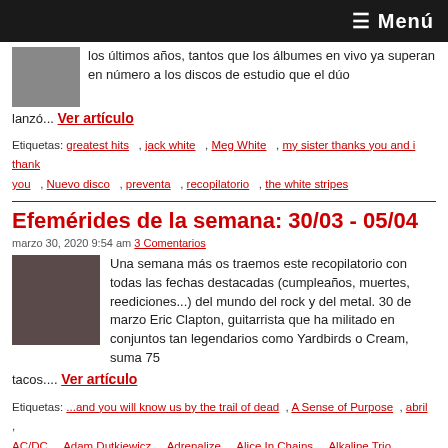≡ Menú
los últimos años, tantos que los álbumes en vivo ya superan en número a los discos de estudio que el dúo lanzó...
Ver artículo
Etiquetas: greatest hits , jack white , Meg White , my sister thanks you and i thank you , Nuevo disco , preventa , recopilatorio , the white stripes
Efemérides de la semana: 30/03 - 05/04
marzo 30, 2020 9:54 am 3 Comentarios
Una semana más os traemos este recopilatorio con todas las fechas destacadas (cumpleaños, muertes, reediciones...) del mundo del rock y del metal. 30 de marzo Eric Clapton, guitarrista que ha militado en conjuntos tan legendarios como Yardbirds o Cream, suma 75 tacos.... Ver artículo
Etiquetas: ...and you will know us by the trail of dead , A Sense of Purpose , abril , AC/DC , Adam Dutkiewicz , Adrenalize , Alice In Chains , Alkaline Trio